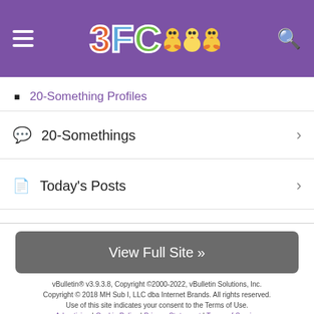[Figure (logo): 3FC website header with purple background, hamburger menu icon on left, 3FC logo with colorful chick icons in center, search icon on right]
20-Something Profiles
💬 20-Somethings >
📄 Today's Posts >
View Full Site »
vBulletin® v3.9.3.8, Copyright ©2000-2022, vBulletin Solutions, Inc. Copyright © 2018 MH Sub I, LLC dba Internet Brands. All rights reserved. Use of this site indicates your consent to the Terms of Use. Advertising | Cookie Policy | Privacy Statement | Terms of Service